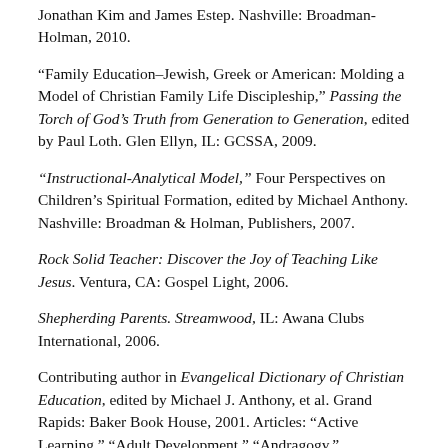Jonathan Kim and James Estep. Nashville: Broadman-Holman, 2010.
“Family Education–Jewish, Greek or American: Molding a Model of Christian Family Life Discipleship,” Passing the Torch of God’s Truth from Generation to Generation, edited by Paul Loth. Glen Ellyn, IL: GCSSA, 2009.
“Instructional-Analytical Model,” Four Perspectives on Children’s Spiritual Formation, edited by Michael Anthony. Nashville: Broadman & Holman, Publishers, 2007.
Rock Solid Teacher: Discover the Joy of Teaching Like Jesus. Ventura, CA: Gospel Light, 2006.
Shepherding Parents. Streamwood, IL: Awana Clubs International, 2006.
Contributing author in Evangelical Dictionary of Christian Education, edited by Michael J. Anthony, et al. Grand Rapids: Baker Book House, 2001. Articles: “Active Learning,” “Adult Development,” “Andragogy,” “Recovery,” “Reward,” “Romanticism,” and “Team...